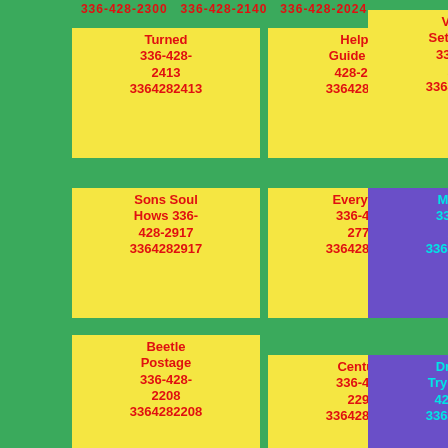336-428-2300 336-428-2140 336-428-2024
Turned 336-428-2413 3364282413
Helped Guide 336-428-2544 3364282544
Voices Setting Ter 336-428-2249 3364282249
Sons Soul Hows 336-428-2917 3364282917
Everythin 336-428-2774 3364282774
Minutes 336-428-2077 3364282077
Beetle Postage 336-428-2208 3364282208
Century 336-428-2295 3364282295
Dry Wild Trying 336-428-2025 3364282025
Galleons Rows
Father Hadnt Irongrove